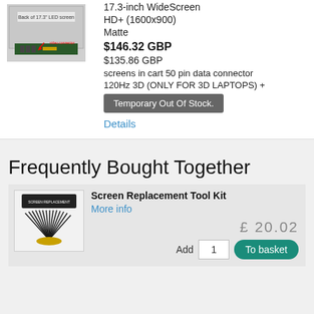[Figure (photo): Back of 17.3 inch LED screen showing video connector area]
17.3-inch WideScreen
HD+ (1600x900)
Matte
$146.32 GBP
$135.86 GBP
screens in cart 50 pin data connector
120Hz 3D (ONLY FOR 3D LAPTOPS) +
Temporary Out Of Stock.
Details
Frequently Bought Together
[Figure (photo): Screen Replacement Tool Kit product image showing screwdrivers and tools]
Screen Replacement Tool Kit
More info
£ 20.02
Add 1 To basket